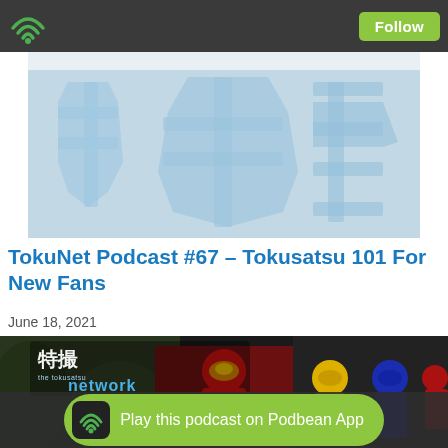Podbean podcast app navigation bar with wifi icon and Follow button
[Figure (illustration): Light blue banner image with large stylized Japanese kanji characters as watermark in pale blue on lighter blue background, with a white horizontal stripe across the top]
TokuNet Podcast #67 – Tokusatsu 101 For New Fans
June 18, 2021
[Figure (photo): Episode 67 thumbnail showing 特撮 the tokusatsu network logo with EPISODE 67 text, featuring a red helmeted Power Rangers/Super Sentai style hero in center, yellow and blue heroes to the right, and dark forest imagery to the left]
Play this podcast on Podbean App